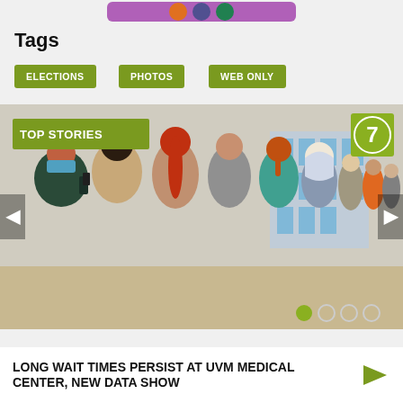[Figure (illustration): Purple banner strip at top of page with circular icons]
Tags
ELECTIONS
PHOTOS
WEB ONLY
[Figure (illustration): Slideshow carousel showing a queue of diverse people waiting in line outside a building, with TOP STORIES badge top-left, Channel 7 logo top-right, navigation arrows on sides, and dot indicators at bottom]
LONG WAIT TIMES PERSIST AT UVM MEDICAL CENTER, NEW DATA SHOW